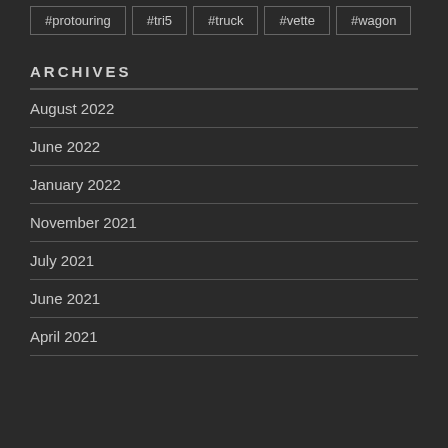#protouring
#tri5
#truck
#vette
#wagon
ARCHIVES
August 2022
June 2022
January 2022
November 2021
July 2021
June 2021
April 2021